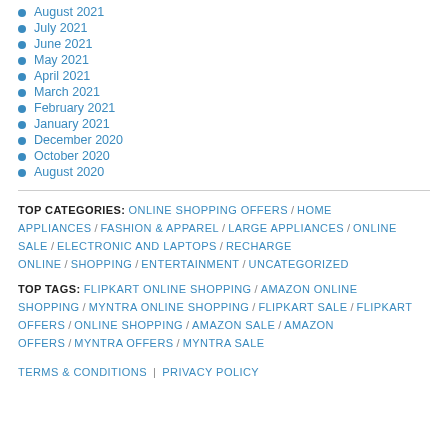August 2021
July 2021
June 2021
May 2021
April 2021
March 2021
February 2021
January 2021
December 2020
October 2020
August 2020
TOP CATEGORIES: ONLINE SHOPPING OFFERS / HOME APPLIANCES / FASHION & APPAREL / LARGE APPLIANCES / ONLINE SALE / ELECTRONIC AND LAPTOPS / RECHARGE ONLINE / SHOPPING / ENTERTAINMENT / UNCATEGORIZED
TOP TAGS: FLIPKART ONLINE SHOPPING / AMAZON ONLINE SHOPPING / MYNTRA ONLINE SHOPPING / FLIPKART SALE / FLIPKART OFFERS / ONLINE SHOPPING / AMAZON SALE / AMAZON OFFERS / MYNTRA OFFERS / MYNTRA SALE
TERMS & CONDITIONS | PRIVACY POLICY